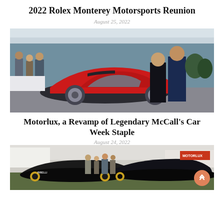2022 Rolex Monterey Motorsports Reunion
August 25, 2022
[Figure (photo): A couple in formal attire standing next to a classic red Ferrari at an outdoor motorsports event with crowd in the background]
Motorlux, a Revamp of Legendary McCall's Car Week Staple
August 24, 2022
[Figure (photo): Outdoor motorsports display with black racing cars including a Pagani, crowds of people, and white tents at an automotive event]